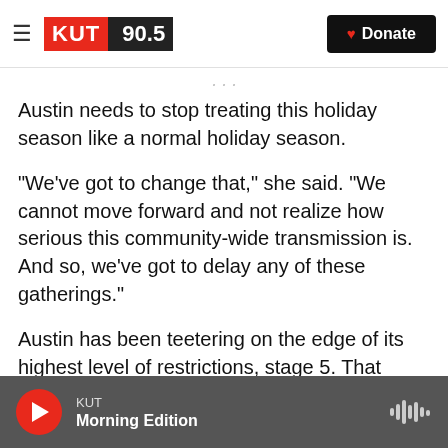KUT 90.5 | Donate
Austin needs to stop treating this holiday season like a normal holiday season.
"We've got to change that," she said. "We cannot move forward and not realize how serious this community-wide transmission is. And so, we've got to delay any of these gatherings."
Austin has been teetering on the edge of its highest level of restrictions, stage 5. That could kick in if the seven-day average for hospital admissions rises above 50. Last week, the average eclipsed 40 for the first time since late July.
KUT
Morning Edition